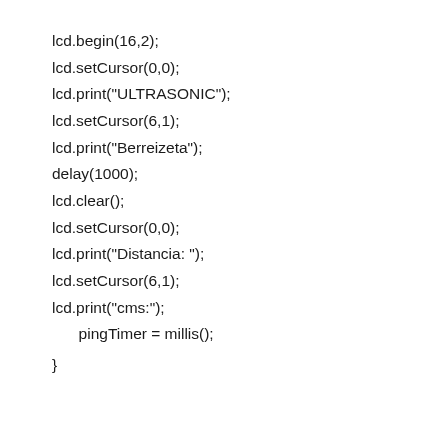lcd.begin(16,2);
lcd.setCursor(0,0);
lcd.print("ULTRASONIC");
lcd.setCursor(6,1);
lcd.print("Berreizeta");
delay(1000);
lcd.clear();
lcd.setCursor(0,0);
lcd.print("Distancia: ");
lcd.setCursor(6,1);
lcd.print("cms:");
  pingTimer = millis();
}